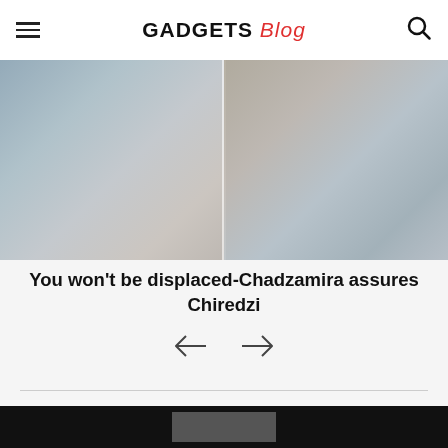GADGETS Blog
[Figure (photo): Composite featured image showing two panels side by side: left panel shows a person outdoors, right panel shows another person outdoors. Both images are muted/faded.]
You won’t be displaced-Chadzamira assures Chiredzi
[Figure (other): Navigation arrows: left arrow and right arrow for carousel navigation]
[Figure (photo): Bottom black section with gray rectangle partially visible, beginning of another article image]